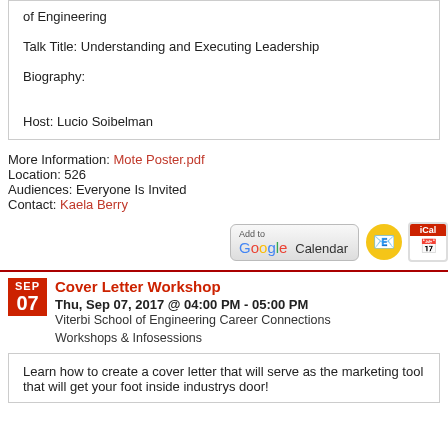of Engineering
Talk Title: Understanding and Executing Leadership
Biography:
Host: Lucio Soibelman
More Information: Mote Poster.pdf
Location: 526
Audiences: Everyone Is Invited
Contact: Kaela Berry
[Figure (other): Add to Google Calendar, Outlook, and iCal calendar icons]
Cover Letter Workshop
Thu, Sep 07, 2017 @ 04:00 PM - 05:00 PM
Viterbi School of Engineering Career Connections
Workshops & Infosessions
Learn how to create a cover letter that will serve as the marketing tool that will get your foot inside industrys door!